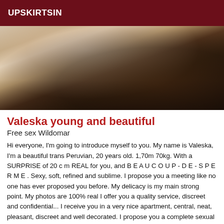UPSKIRTSIN
[Figure (photo): Photo of a person lying down, wearing a white top and dark brown/black leggings or skirt, partially cropped]
Valeska young and beautiful
Free sex Wildomar
Hi everyone, I'm going to introduce myself to you. My name is Valeska, I'm a beautiful trans Peruvian, 20 years old. 1,70m 70kg. With a SURPRISE of 20 c m REAL for you, and B E A U C O U P - D E - S P E R M E . Sexy, soft, refined and sublime. I propose you a meeting like no one has ever proposed you before. My delicacy is my main strong point. My photos are 100% real I offer you a quality service, discreet and confidential... I receive you in a very nice apartment, central, neat, pleasant, discreet and well decorated. I propose you a complete sexual